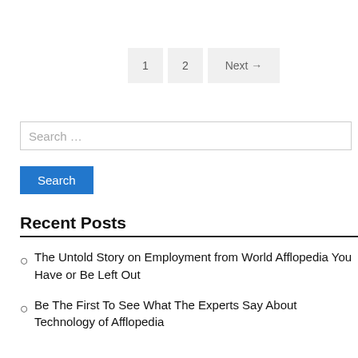1  2  Next →
Search …
Search
Recent Posts
The Untold Story on Employment from World Afflopedia You Have or Be Left Out
Be The First To See What The Experts Say About Technology of Afflopedia